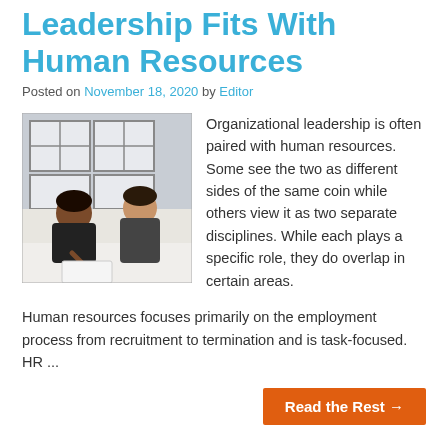Leadership Fits With Human Resources
Posted on November 18, 2020 by Editor
[Figure (photo): Two women sitting at a table in an office or meeting room setting, one writing in a notebook, the other speaking]
Organizational leadership is often paired with human resources. Some see the two as different sides of the same coin while others view it as two separate disciplines. While each plays a specific role, they do overlap in certain areas.
Human resources focuses primarily on the employment process from recruitment to termination and is task-focused. HR ...
Read the Rest →